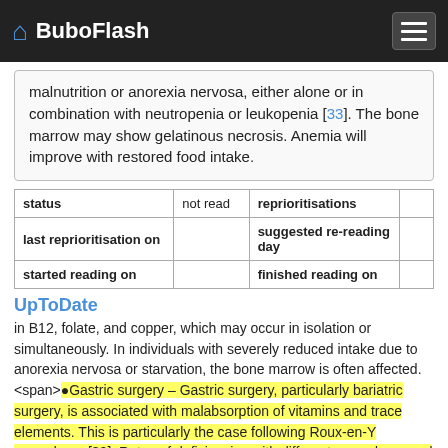BuboFlash
malnutrition or anorexia nervosa, either alone or in combination with neutropenia or leukopenia [33]. The bone marrow may show gelatinous necrosis. Anemia will improve with restored food intake.
| status | not read | reprioritisations |
| --- | --- | --- |
| last reprioritisation on |  | suggested re-reading day |  |
| started reading on |  | finished reading on |  |
UpToDate
in B12, folate, and copper, which may occur in isolation or simultaneously. In individuals with severely reduced intake due to anorexia nervosa or starvation, the bone marrow is often affected. <span>●Gastric surgery – Gastric surgery, particularly bariatric surgery, is associated with malabsorption of vitamins and trace elements. This is particularly the case following Roux-en-Y procedures [32]. Rates of deficiencies with different procedures and details of routine supplementation are discussed